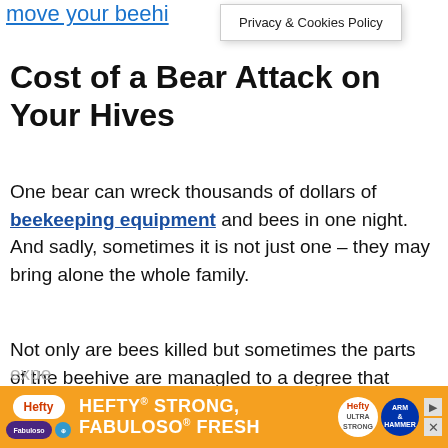move your beeh...
Privacy & Cookies Policy
Cost of a Bear Attack on Your Hives
One bear can wreck thousands of dollars of beekeeping equipment and bees in one night. And sadly, sometimes it is not just one – they may bring alone the whole family.
Not only are bees killed but sometimes the parts of the beehive are managled to a degree that prevent reuse. These can be expe...
[Figure (advertisement): Hefty Strong, Fabuloso Fresh advertisement banner in orange]